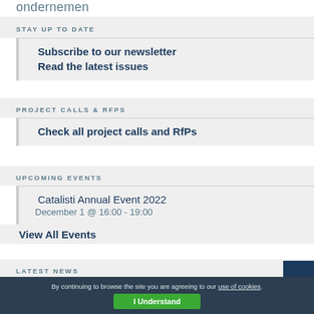ondernemen
STAY UP TO DATE
Subscribe to our newsletter
Read the latest issues
PROJECT CALLS & RFPS
Check all project calls and RfPs
UPCOMING EVENTS
Catalisti Annual Event 2022
December 1 @ 16:00 - 19:00
View All Events
LATEST NEWS
By continuing to browse the site you are agreeing to our use of cookies.
I Understand